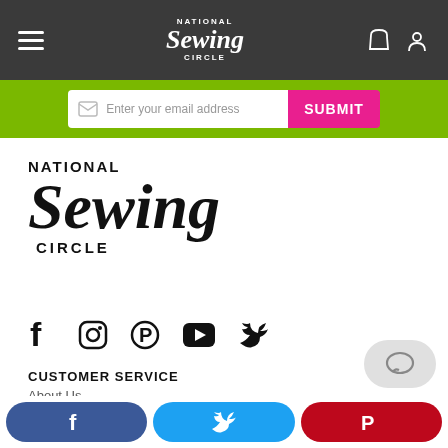[Figure (screenshot): Navigation bar with hamburger menu, National Sewing Circle logo, shopping bag and user icons on dark background]
[Figure (screenshot): Green email subscription bar with email input field and pink SUBMIT button]
[Figure (logo): National Sewing Circle logo in large script style text]
[Figure (screenshot): Social media icons row: Facebook, Instagram, Pinterest, YouTube, Twitter]
CUSTOMER SERVICE
About Us
[Figure (screenshot): Bottom share bar with Facebook, Twitter, and Pinterest share buttons]